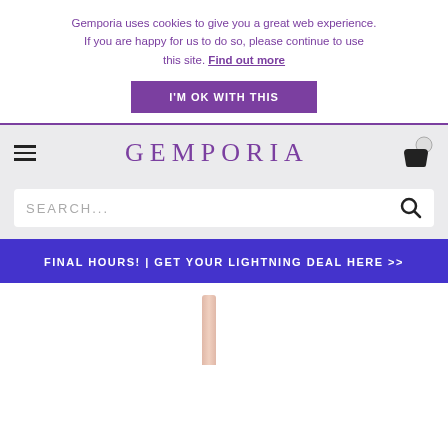Gemporia uses cookies to give you a great web experience. If you are happy for us to do so, please continue to use this site. Find out more
I'M OK WITH THIS
GEMPORIA
SEARCH...
FINAL HOURS! | GET YOUR LIGHTNING DEAL HERE >>
[Figure (photo): Partial product image showing a thin pink/rose gold item (likely jewelry or a pen) against a white background]